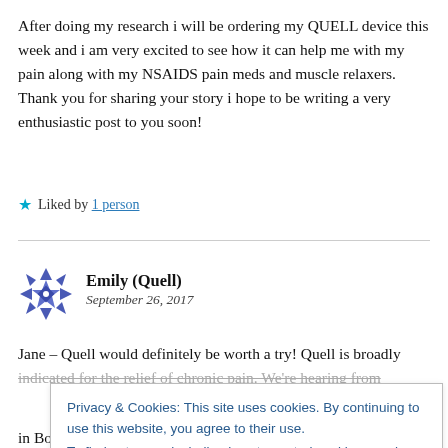After doing my research i will be ordering my QUELL device this week and i am very excited to see how it can help me with my pain along with my NSAIDS pain meds and muscle relaxers. Thank you for sharing your story i hope to be writing a very enthusiastic post to you soon!
★ Liked by 1 person
[Figure (illustration): Avatar/profile icon for Emily (Quell) — a decorative geometric snowflake-like pattern in blue/purple tones]
Emily (Quell)
September 26, 2017
Jane – Quell would definitely be worth a try! Quell is broadly indicated for the relief of chronic pain. We're hearing from
Privacy & Cookies: This site uses cookies. By continuing to use this website, you agree to their use.
To find out more, including how to control cookies, see here:
Cookie Policy
Close and accept
in Boston that can assist you along the way as you get up and